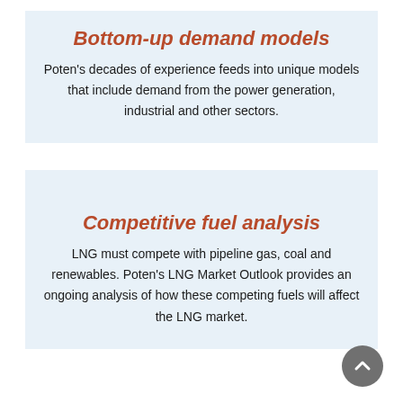Bottom-up demand models
Poten's decades of experience feeds into unique models that include demand from the power generation, industrial and other sectors.
Competitive fuel analysis
LNG must compete with pipeline gas, coal and renewables. Poten's LNG Market Outlook provides an ongoing analysis of how these competing fuels will affect the LNG market.